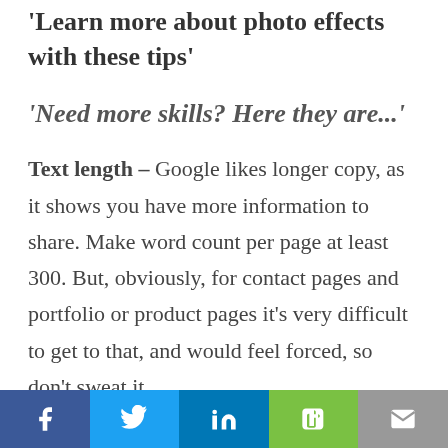'Learn more about photo effects with these tips'
'Need more skills? Here they are...'
Text length – Google likes longer copy, as it shows you have more information to share. Make word count per page at least 300. But, obviously, for contact pages and portfolio or product pages it's very difficult to get to that, and would feel forced, so don't sweat it.
Social share bar: Facebook, Twitter, LinkedIn, Evernote, Email